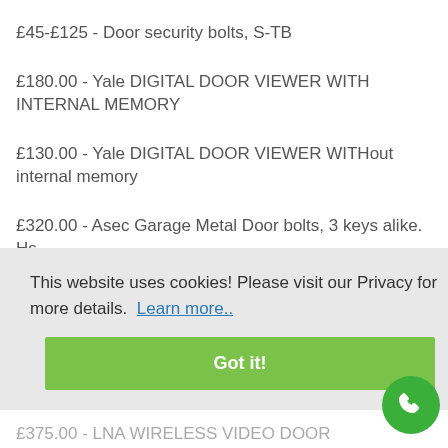£45-£125 - Door security bolts, S-TB
£180.00 - Yale DIGITAL DOOR VIEWER WITH INTERNAL MEMORY
£130.00 - Yale DIGITAL DOOR VIEWER WITHout internal memory
£320.00 - Asec Garage Metal Door bolts, 3 keys alike. Hs
This website uses cookies! Please visit our Privacy for more details. Learn more..
Got it!
£375.00 - LNA WIRELESS VIDEO DOOR